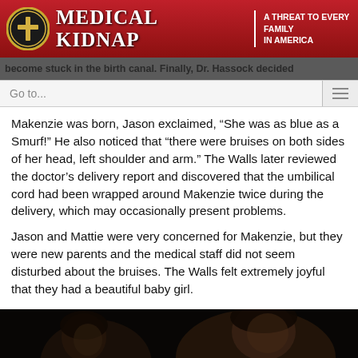[Figure (logo): Medical Kidnap website header banner with logo (cross icon in gold circle), title 'Medical Kidnap' in white serif font on red/dark red gradient background, tagline 'A Threat to Every Family in America']
become stuck in the birth canal. Finally, Dr. Hassock decided
Go to...
Makenzie was born, Jason exclaimed, “She was as blue as a Smurf!” He also noticed that “there were bruises on both sides of her head, left shoulder and arm.” The Walls later reviewed the doctor’s delivery report and discovered that the umbilical cord had been wrapped around Makenzie twice during the delivery, which may occasionally present problems.
Jason and Mattie were very concerned for Makenzie, but they were new parents and the medical staff did not seem disturbed about the bruises. The Walls felt extremely joyful that they had a beautiful baby girl.
[Figure (photo): Dark photograph of two people (a woman and a man) in low lighting, appearing to be parents, dark background]